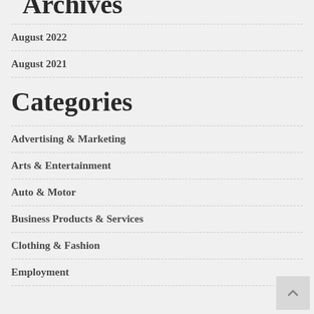Archives
August 2022
August 2021
Categories
Advertising & Marketing
Arts & Entertainment
Auto & Motor
Business Products & Services
Clothing & Fashion
Employment